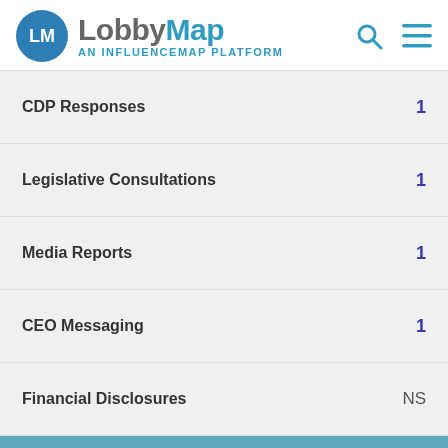LobbyMap AN INFLUENCEMAP PLATFORM
CDP Responses  1
Legislative Consultations  1
Media Reports  1
CEO Messaging  1
Financial Disclosures  NS
Disclosure on Relationships
Main Web Site  -1
Social Media  NS